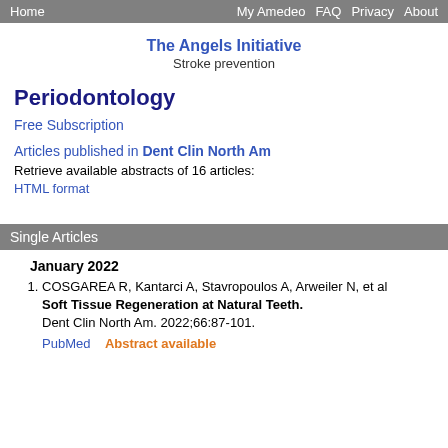Home   My Amedeo  FAQ  Privacy  About
The Angels Initiative
Stroke prevention
Periodontology
Free Subscription
Articles published in Dent Clin North Am
Retrieve available abstracts of 16 articles:
HTML format
Single Articles
January 2022
1. COSGAREA R, Kantarci A, Stavropoulos A, Arweiler N, et al
Soft Tissue Regeneration at Natural Teeth.
Dent Clin North Am. 2022;66:87-101.
PubMed   Abstract available